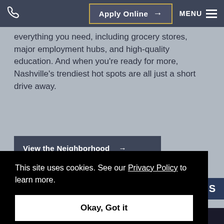Apply Online  MENU
everything you need, including grocery stores, major employment hubs, and high-quality education. And when you're ready for more, Nashville's trendiest hot spots are all just a short drive away.
View the Neighborhood →
TIONS
This site uses cookies. See our Privacy Policy to learn more.
Okay, Got it
WET NOSES WELCOME